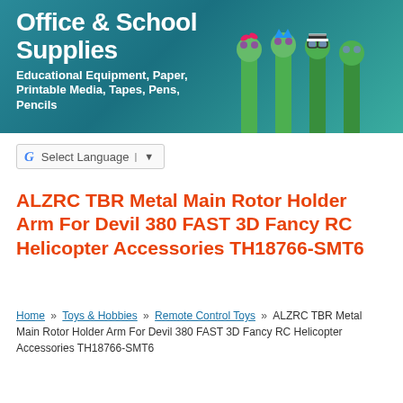[Figure (illustration): Banner image with teal/blue gradient background featuring text 'Office & School Supplies' and decorative cartoon green character pen/pencil toppers on the right side]
Select Language ▼
ALZRC TBR Metal Main Rotor Holder Arm For Devil 380 FAST 3D Fancy RC Helicopter Accessories TH18766-SMT6
Home » Toys & Hobbies » Remote Control Toys » ALZRC TBR Metal Main Rotor Holder Arm For Devil 380 FAST 3D Fancy RC Helicopter Accessories TH18766-SMT6